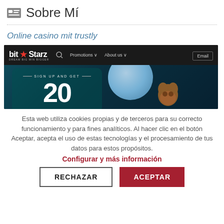Sobre Mí
Online casino mit trustly
[Figure (screenshot): BitStarz online casino website screenshot showing the navigation bar with logo, search, Promotions, About us, and Email links, plus a promotional banner with 'SIGN UP AND GET 20' text on a dark teal background with a moon and character illustration.]
Esta web utiliza cookies propias y de terceros para su correcto funcionamiento y para fines analíticos. Al hacer clic en el botón Aceptar, acepta el uso de estas tecnologías y el procesamiento de tus datos para estos propósitos.
Configurar y más información
RECHAZAR
ACEPTAR